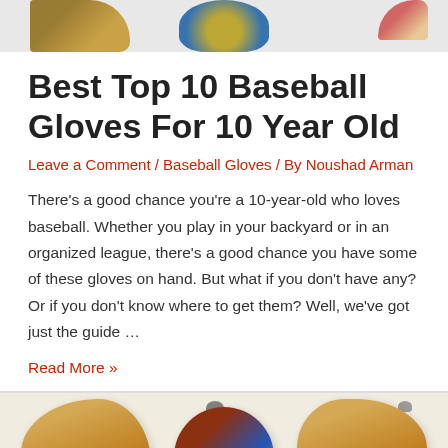[Figure (photo): Partial top view of baseball gloves lineup, cropped at top of page]
Best Top 10 Baseball Gloves For 10 Year Old
Leave a Comment / Baseball Gloves / By Noushad Arman
There’s a good chance you’re a 10-year-old who loves baseball. Whether you play in your backyard or in an organized league, there’s a good chance you have some of these gloves on hand. But what if you don’t have any? Or if you don’t know where to get them? Well, we’ve got just the guide …
Read More »
[Figure (photo): Bottom partial view of three baseball gloves (A2000 brand), tan/brown colored with red stitching, cropped at bottom of page]